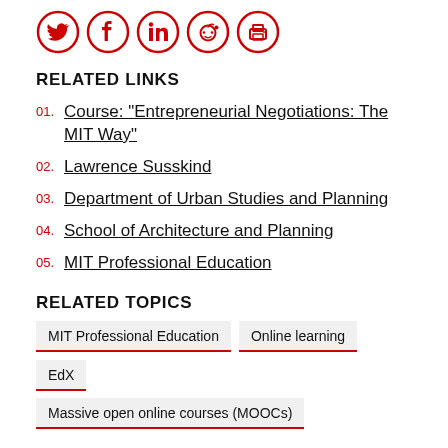[Figure (illustration): Row of five red social media / share icons: Twitter, Facebook, LinkedIn, Reddit, Print]
RELATED LINKS
01. Course: "Entrepreneurial Negotiations: The MIT Way"
02. Lawrence Susskind
03. Department of Urban Studies and Planning
04. School of Architecture and Planning
05. MIT Professional Education
RELATED TOPICS
MIT Professional Education
Online learning
EdX
Massive open online courses (MOOCs)